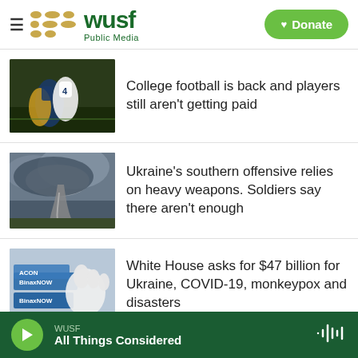WUSF Public Media — Donate
[Figure (screenshot): WUSF Public Media logo with gold dots and green text, hamburger menu icon, and green Donate button]
College football is back and players still aren't getting paid
Ukraine's southern offensive relies on heavy weapons. Soldiers say there aren't enough
White House asks for $47 billion for Ukraine, COVID-19, monkeypox and disasters
WUSF — All Things Considered